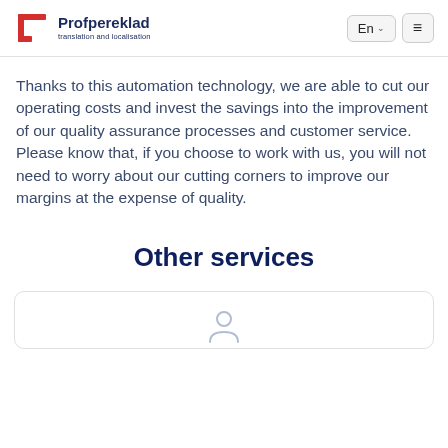Profpereklad — translation and localisation | En | ☰
Thanks to this automation technology, we are able to cut our operating costs and invest the savings into the improvement of our quality assurance processes and customer service. Please know that, if you choose to work with us, you will not need to worry about our cutting corners to improve our margins at the expense of quality.
Other services
[Figure (other): Partial view of a service card with an icon at the bottom, bottom of page]